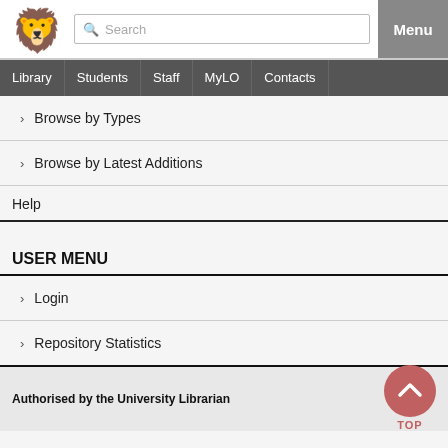Search | Menu | Library | Students | Staff | MyLO | Contacts
> Browse by Types
> Browse by Latest Additions
Help
USER MENU
> Login
> Repository Statistics
Authorised by the University Librarian